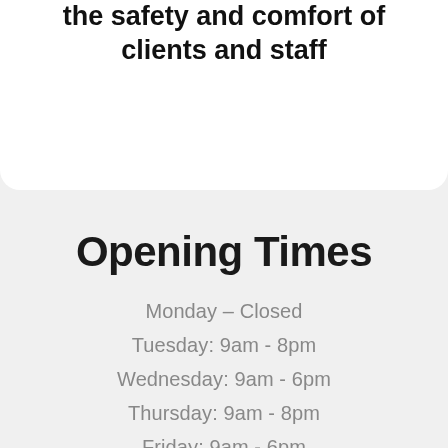Please check our new procedures for the safety and comfort of clients and staff
Opening Times
Monday – Closed
Tuesday: 9am - 8pm
Wednesday: 9am - 6pm
Thursday: 9am - 8pm
Friday: 9am - 6pm
Saturday: 9am - 5pm